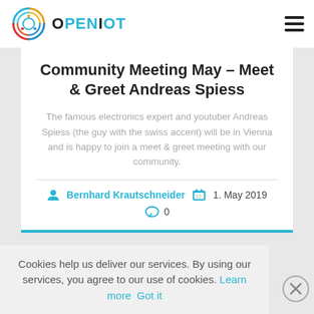[Figure (logo): OpenIoT logo with circular colorful icon and bold text OPENIOT]
Community Meeting May – Meet & Greet Andreas Spiess
The famous electronics expert and youtuber Andreas Spiess (the guy with the swiss accent) will be in Vienna and is happy to join a meet & greet meeting with our community.
Bernhard Krautschneider   1. May 2019   0
Cookies help us deliver our services. By using our services, you agree to our use of cookies. Learn more  Got it